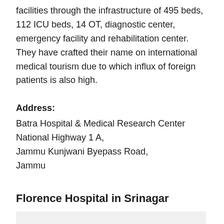facilities through the infrastructure of 495 beds, 112 ICU beds, 14 OT, diagnostic center, emergency facility and rehabilitation center. They have crafted their name on international medical tourism due to which influx of foreign patients is also high.
Address:
Batra Hospital & Medical Research Center
National Highway 1 A,
Jammu Kunjwani Byepass Road,
Jammu
Florence Hospital in Srinagar
[Figure (photo): Image placeholder for Florence Hospital in Srinagar]